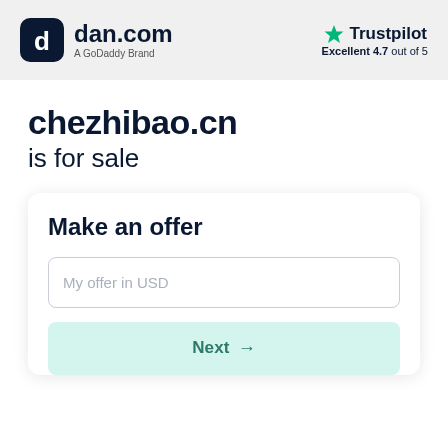dan.com — A GoDaddy Brand | Trustpilot Excellent 4.7 out of 5
chezhibao.cn is for sale
Make an offer
My offer in USD
Next →